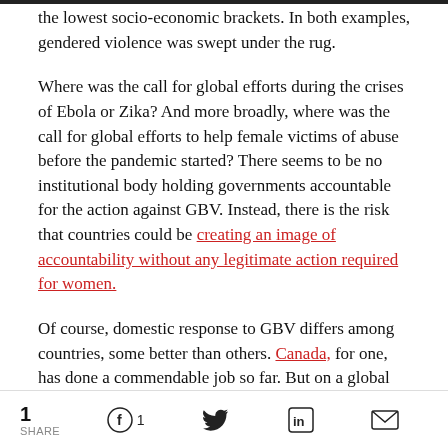the lowest socio-economic brackets. In both examples, gendered violence was swept under the rug.
Where was the call for global efforts during the crises of Ebola or Zika? And more broadly, where was the call for global efforts to help female victims of abuse before the pandemic started? There seems to be no institutional body holding governments accountable for the action against GBV. Instead, there is the risk that countries could be creating an image of accountability without any legitimate action required for women.
Of course, domestic response to GBV differs among countries, some better than others. Canada, for one, has done a commendable job so far. But on a global
1 SHARE  [Facebook] 1  [Twitter]  [LinkedIn]  [Email]